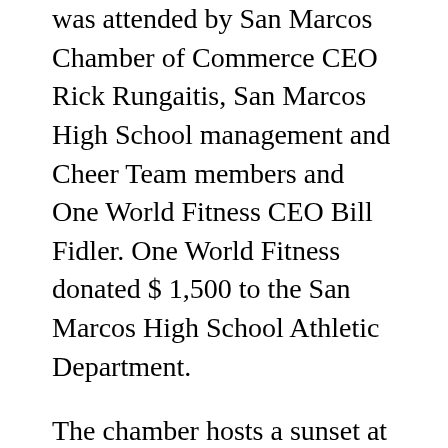was attended by San Marcos Chamber of Commerce CEO Rick Rungaitis, San Marcos High School management and Cheer Team members and One World Fitness CEO Bill Fidler. One World Fitness donated $ 1,500 to the San Marcos High School Athletic Department.
The chamber hosts a sunset at the scene
Come and meet local entrepreneurs at the Valley Center Chamber Sundowner from 5: 30-19: 00 p.m. Tuesday at the Otter Valley Event and Nature Center, 15175 Highway 76, Pauma Valley. Enjoy old-fashioned picnics and networking. Dinner is $ 10. Visit